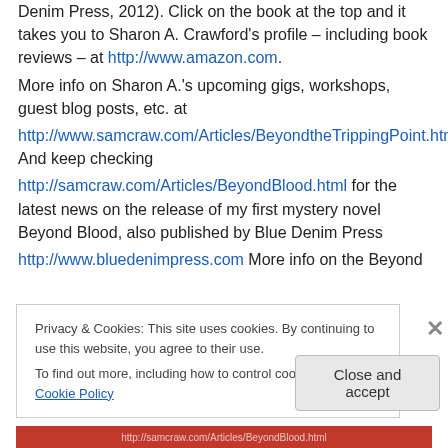Denim Press, 2012). Click on the book at the top and it takes you to Sharon A. Crawford's profile – including book reviews – at http://www.amazon.com. More info on Sharon A.'s upcoming gigs, workshops, guest blog posts, etc. at http://www.samcraw.com/Articles/BeyondtheTrippingPoint.html And keep checking http://samcraw.com/Articles/BeyondBlood.html for the latest news on the release of my first mystery novel Beyond Blood, also published by Blue Denim Press http://www.bluedenimpress.com More info on the Beyond
Privacy & Cookies: This site uses cookies. By continuing to use this website, you agree to their use. To find out more, including how to control cookies, see here: Cookie Policy
Close and accept